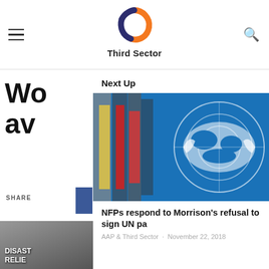Third Sector
Wo av
SHARE
Next Up
[Figure (photo): UN flag close-up with world map emblem in blue and white, with various national flags in background]
NFPs respond to Morrison's refusal to sign UN pa
AAP & Third Sector · November 22, 2018
[Figure (photo): Partially visible protest sign reading DISAST and RELIE]